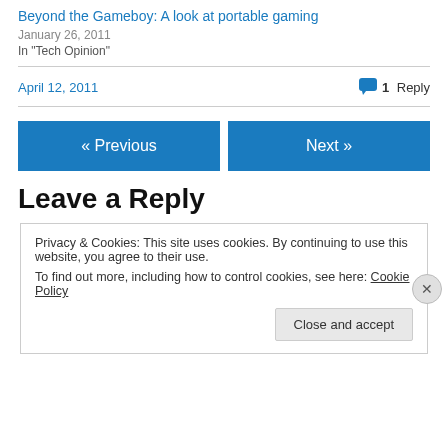Beyond the Gameboy: A look at portable gaming
January 26, 2011
In "Tech Opinion"
April 12, 2011
1 Reply
« Previous
Next »
Leave a Reply
Privacy & Cookies: This site uses cookies. By continuing to use this website, you agree to their use.
To find out more, including how to control cookies, see here: Cookie Policy
Close and accept